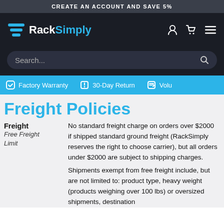CREATE AN ACCOUNT AND SAVE 5%
[Figure (logo): RackSimply logo with blue chevron/rack icon and white/blue text on dark background, with user, cart, and menu icons]
Search...
Factory Warranty  30-Day Return  Volu...
Freight Policies
Freight  Free Freight Limit
No standard freight charge on orders over $2000 if shipped standard ground freight (RackSimply reserves the right to choose carrier), but all orders under $2000 are subject to shipping charges.
Shipments exempt from free freight include, but are not limited to: product type, heavy weight (products weighing over 100 lbs) or oversized shipments, destination